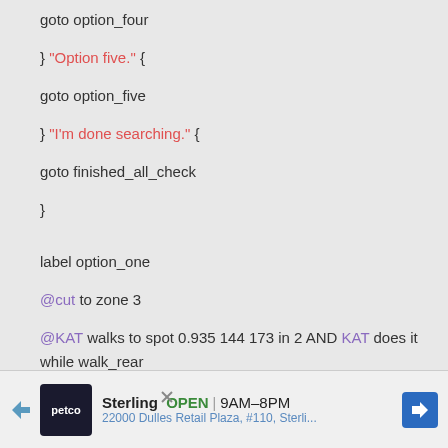goto option_four
} "Option five." {
goto option_five
} "I'm done searching." {
goto finished_all_check
}
label option_one
@cut to zone 3
@KAT walks to spot 0.935 144 173 in 2 AND KAT does it while walk_rear
AND KAT faces right
@KAT is tinker_loop_rear AND KAT faces left
KAT (talk_excited)
[Figure (screenshot): Petco advertisement banner showing Sterling location, OPEN 9AM-8PM, 22000 Dulles Retail Plaza, #110, Sterli...]